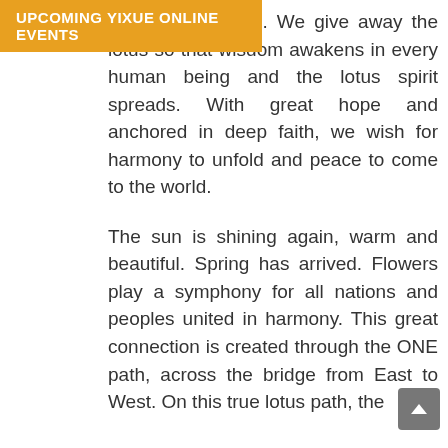UPCOMING YIXUE ONLINE EVENTS
ew, luminous age. We give away the lotus so that wisdom awakens in every human being and the lotus spirit spreads. With great hope and anchored in deep faith, we wish for harmony to unfold and peace to come to the world.
The sun is shining again, warm and beautiful. Spring has arrived. Flowers play a symphony for all nations and peoples united in harmony. This great connection is created through the ONE path, across the bridge from East to West. On this true lotus path, the